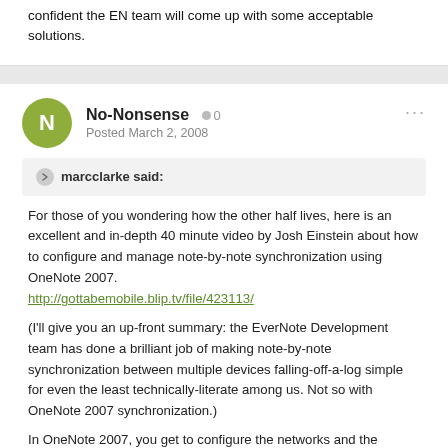confident the EN team will come up with some acceptable solutions.
No-Nonsense  0
Posted March 2, 2008
marcclarke said:
For those of you wondering how the other half lives, here is an excellent and in-depth 40 minute video by Josh Einstein about how to configure and manage note-by-note synchronization using OneNote 2007.
http://gottabemobile.blip.tv/file/423113/

(I'll give you an up-front summary: the EverNote Development team has done a brilliant job of making note-by-note synchronization between multiple devices falling-off-a-log simple for even the least technically-literate among us. Not so with OneNote 2007 synchronization.)

In OneNote 2007, you get to configure the networks and the